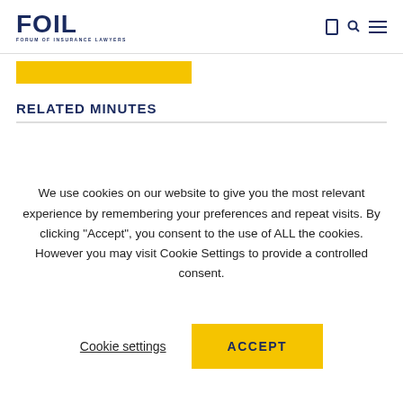FOIL — FORUM OF INSURANCE LAWYERS
[Figure (other): Yellow rectangular banner/bar element]
RELATED MINUTES
We use cookies on our website to give you the most relevant experience by remembering your preferences and repeat visits. By clicking "Accept", you consent to the use of ALL the cookies. However you may visit Cookie Settings to provide a controlled consent.
Cookie settings   ACCEPT